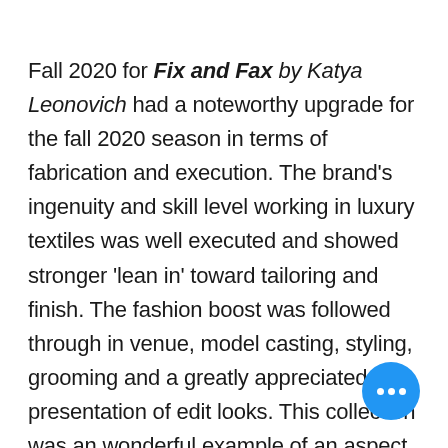Fall 2020 for Fix and Fax by Katya Leonovich had a noteworthy upgrade for the fall 2020 season in terms of fabrication and execution. The brand's ingenuity and skill level working in luxury textiles was well executed and showed stronger 'lean in' toward tailoring and finish. The fashion boost was followed through in venue, model casting, styling, grooming and a greatly appreciated presentation of edit looks. This collection was an wonderful example of an aspect of what has been missing form NYFW men and in New York fashion week in general.....Optimistic fun a looking forward to the future- first through creative artistic lens.There was a vocabulary to this collection which was